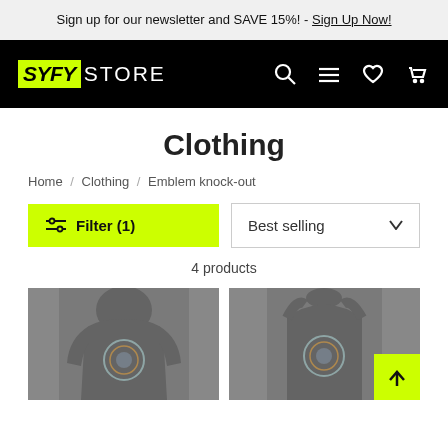Sign up for our newsletter and SAVE 15%! - Sign Up Now!
[Figure (logo): SYFY STORE logo in black navigation bar with search, menu, heart, and cart icons]
Clothing
Home / Clothing / Emblem knock-out
Filter (1)
Best selling
4 products
[Figure (photo): Dark grey hoodie with circular emblem graphic on chest]
[Figure (photo): Dark grey tank top with circular emblem graphic on chest]